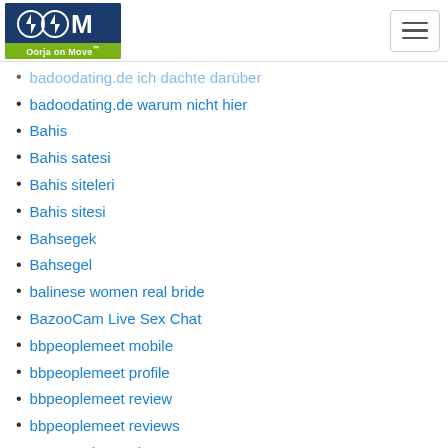Oorja on Move
badoodating.de ich dachte daruber
badoodating.de warum nicht hier
Bahis
Bahis satesi
Bahis siteleri
Bahis sitesi
Bahsegek
Bahsegel
balinese women real bride
BazooCam Live Sex Chat
bbpeoplemeet mobile
bbpeoplemeet profile
bbpeoplemeet review
bbpeoplemeet reviews
BBW-Dating preise
bbwcupid reviews